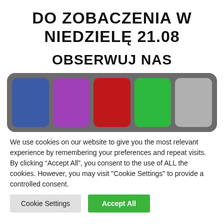DO ZOBACZENIA W NIEDZIELĘ 21.08
OBSERWUJ NAS
[Figure (illustration): A row of five colored rounded rectangles on a dark gray background representing social media buttons: blue (Facebook), purple (Instagram), red (YouTube), green (Twitter/X), gray (LinkedIn).]
We use cookies on our website to give you the most relevant experience by remembering your preferences and repeat visits. By clicking “Accept All”, you consent to the use of ALL the cookies. However, you may visit "Cookie Settings" to provide a controlled consent.
Cookie Settings | Accept All